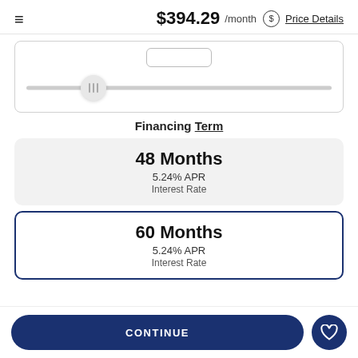$394.29 /month Price Details
[Figure (other): Horizontal slider UI control with a thumb handle showing three vertical grip lines, positioned about 25% from the left of the track. An input box appears above the track.]
Financing Term
48 Months
5.24% APR
Interest Rate
60 Months
5.24% APR
Interest Rate
CONTINUE